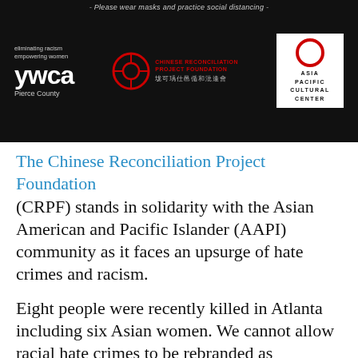[Figure (photo): Dark banner with YWCA Pierce County logo on left, Chinese Reconciliation Project Foundation logo in center, and Asia Pacific Cultural Center logo on right. Top text reads: Please wear masks and practice social distancing.]
The Chinese Reconciliation Project Foundation
(CRPF) stands in solidarity with the Asian American and Pacific Islander (AAPI) community as it faces an upsurge of hate crimes and racism.
Eight people were recently killed in Atlanta including six Asian women. We cannot allow racial hate crimes to be rebranded as economic anxiety or a sexual addiction. We condemn without equivocation the hate crimes taking place across our country against our AAPI community and family.